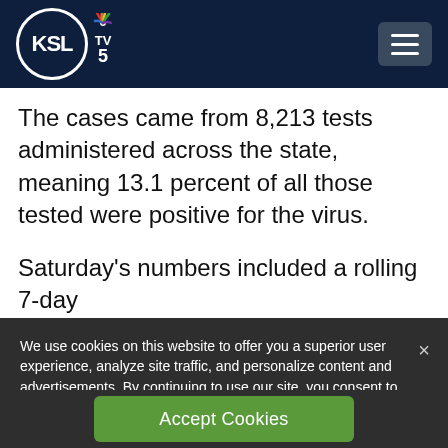KSL TV 5
The cases came from 8,213 tests administered across the state, meaning 13.1 percent of all those tested were positive for the virus.

Saturday's numbers included a rolling 7-day
We use cookies on this website to offer you a superior user experience, analyze site traffic, and personalize content and advertisements. By continuing to use our site, you consent to our use of cookies. Please visit our Privacy Policy for more information.
Accept Cookies